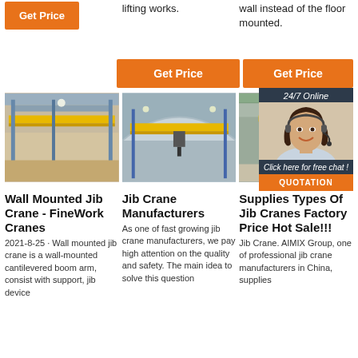[Figure (other): Orange Get Price button at top left]
lifting works.
wall instead of the floor mounted.
[Figure (other): Orange Get Price button center]
[Figure (other): Orange Get Price button right]
[Figure (photo): Industrial warehouse interior with yellow overhead crane - left]
[Figure (photo): Industrial warehouse interior with yellow overhead crane - center]
[Figure (photo): Industrial warehouse with yellow crane visible - right, partially covered by chat overlay]
[Figure (other): 24/7 Online chat widget with agent photo, 'Click here for free chat!' text, and QUOTATION button]
Wall Mounted Jib Crane - FineWork Cranes
2021-8-25 · Wall mounted jib crane is a wall-mounted cantilevered boom arm, consist with support, jib device
Jib Crane Manufacturers
As one of fast growing jib crane manufacturers, we pay high attention on the quality and safety. The main idea to solve this question
Supplies Types Of Jib Cranes Factory Price Hot Sale!!!
Jib Crane. AIMIX Group, one of professional jib crane manufacturers in China, supplies